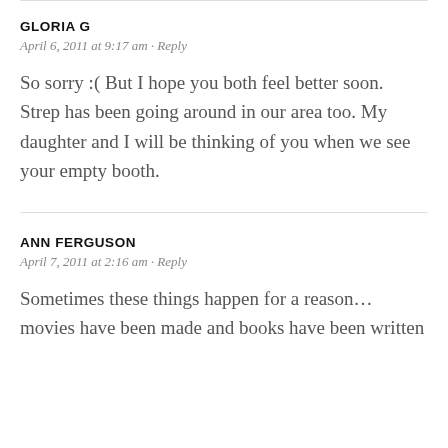GLORIA G
April 6, 2011 at 9:17 am · Reply
So sorry :( But I hope you both feel better soon. Strep has been going around in our area too. My daughter and I will be thinking of you when we see your empty booth.
ANN FERGUSON
April 7, 2011 at 2:16 am · Reply
Sometimes these things happen for a reason… movies have been made and books have been written